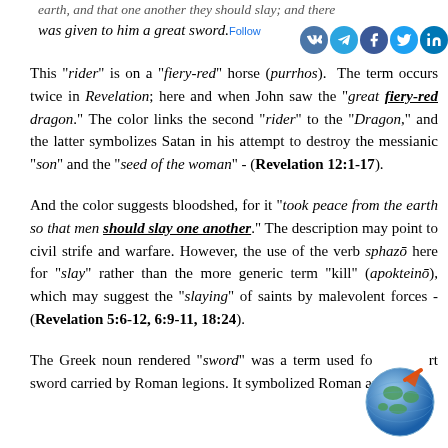earth, and that one another they should slay; and there was given to him a great sword.
This "rider" is on a "fiery-red" horse (purrhos). The term occurs twice in Revelation; here and when John saw the "great fiery-red dragon." The color links the second "rider" to the "Dragon," and the latter symbolizes Satan in his attempt to destroy the messianic "son" and the "seed of the woman" - (REVELATION 12:1-17).
And the color suggests bloodshed, for it "took peace from the earth so that men should slay one another." The description may point to civil strife and warfare. However, the use of the verb sphazō here for "slay" rather than the more generic term "kill" (apokteinō), which may suggest the "slaying" of saints by malevolent forces - (REVELATION 5:6-12, 6:9-11, 18:24).
The Greek noun rendered "sword" was a term used for the short sword carried by Roman legions. It symbolized Roman authority
[Figure (illustration): Globe with arrow icon, decorative website navigation element]